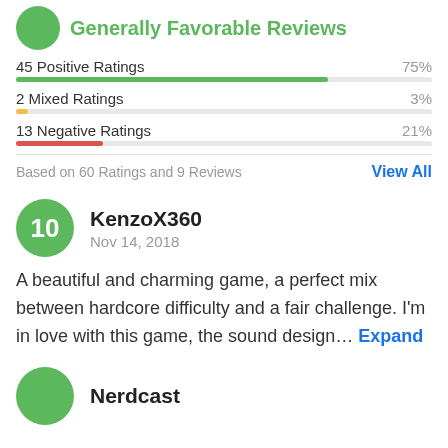Generally Favorable Reviews
45 Positive Ratings 75%
2 Mixed Ratings 3%
13 Negative Ratings 21%
Based on 60 Ratings and 9 Reviews  View All
KenzoX360
Nov 14, 2018
A beautiful and charming game, a perfect mix between hardcore difficulty and a fair challenge. I'm in love with this game, the sound design… Expand
Nerdcast